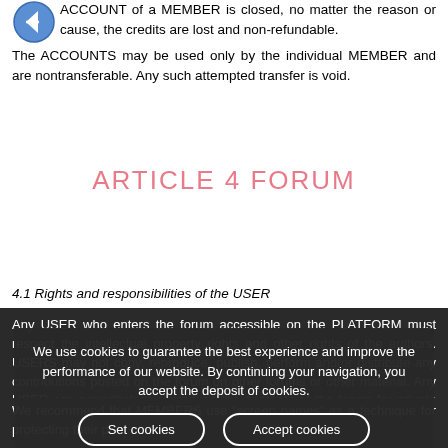(credit). If the ACCOUNT of a MEMBER is closed, no matter the reason or cause, the credits are lost and non-refundable. The ACCOUNTS may be used only by the individual MEMBER and are nontransferable. Any such attempted transfer is void.
ARTICLE 4 FORUM
4.1 Rights and responsibilities of the USER
Any USER who enters the forum accessible on the PLATFORM must respect the intellectual property rights and other rights of the authors. USERS may not copy, reproduce, publish, perform and/or distribute any contributions posted on the forum on other forums or other material. Any USER can nevertheless reproduce the contents of the forum for private consultations or reproduce and broadcast brief excerpts of a message on the condition of citing the source and the author's real name where the author has chosen to adopt a screen name. We recommend that MEMBERS use "screen names" as a technique for protecting their p...